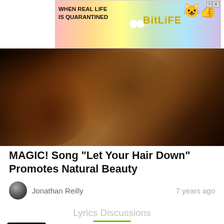[Figure (screenshot): BitLife advertisement banner with rainbow background, text 'WHEN REAL LIFE IS QUARANTINED' and 'BitLife' logo with emoji icons]
[Figure (photo): Hero image showing two people at a party or concert setting, woman laughing and man in background, dark warm tones]
MAGIC! Song "Let Your Hair Down" Promotes Natural Beauty
Jonathan Reilly   7 years ago
Lyrics Discussions
The Fall Of Adam by Marilyn Manson
✎ Post a Meaning